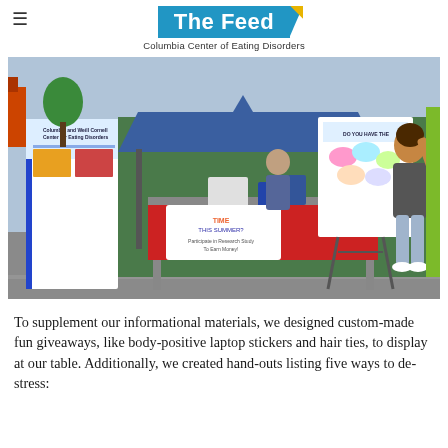The Feed — Columbia Center of Eating Disorders
[Figure (photo): Outdoor community event booth for Columbia and Weill Cornell Center for Eating Disorders. A blue pop-up canopy tent covers a table with a red tablecloth. Signs read 'TIME THIS SUMMER?' and display eating disorder awareness materials. A young woman stands to the right holding up a colorful informational poster. A branded pull-up banner is on the left.]
To supplement our informational materials, we designed custom-made fun giveaways, like body-positive laptop stickers and hair ties, to display at our table. Additionally, we created hand-outs listing five ways to de-stress: